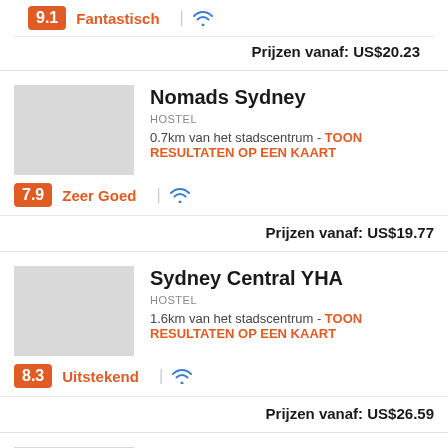9.1 Fantastisch | wifi
Prijzen vanaf: US$20.23
Nomads Sydney
HOSTEL
0.7km van het stadscentrum - TOON RESULTATEN OP EEN KAART
7.9 Zeer Goed | wifi
Prijzen vanaf: US$19.77
Sydney Central YHA
HOSTEL
1.6km van het stadscentrum - TOON RESULTATEN OP EEN KAART
8.3 Uitstekend | wifi
Prijzen vanaf: US$26.59
Sydney Harbour YHA